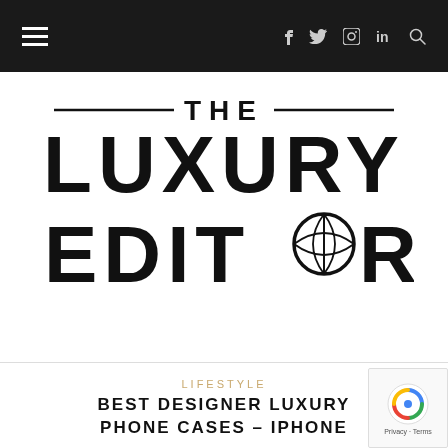Navigation bar with hamburger menu and social icons (f, twitter, instagram, in, search)
[Figure (logo): The Luxury Editor logo: large bold sans-serif text with 'THE' flanked by horizontal lines, 'LUXURY' below, and 'EDITOR' with a globe icon replacing the O]
LIFESTYLE
BEST DESIGNER LUXURY PHONE CASES – IPHONE